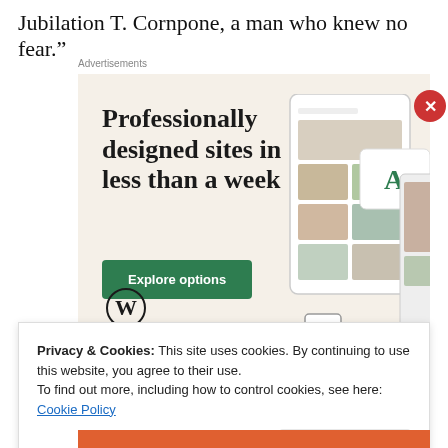Jubilation T. Cornpone, a man who knew no fear.”
Advertisements
[Figure (illustration): WordPress advertisement: beige background with text 'Professionally designed sites in less than a week', a green 'Explore options' button, WordPress logo, and device screenshots showing website mockups.]
Privacy & Cookies: This site uses cookies. By continuing to use this website, you agree to their use.
To find out more, including how to control cookies, see here: Cookie Policy
Close and accept
Advertisements